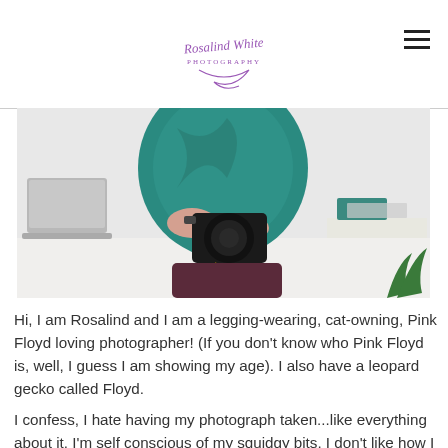Rosalind White Photography logo and navigation
[Figure (photo): Photograph of a person in a teal/green top and dark burgundy pants holding a Nikon D810 camera, seated near a white desk with a laptop and teal accessories in the background.]
Hi, I am Rosalind and I am a legging-wearing, cat-owning, Pink Floyd loving photographer! (If you don't know who Pink Floyd is, well, I guess I am showing my age). I also have a leopard gecko called Floyd.
I confess, I hate having my photograph taken...like everything about it. I'm self conscious of my squidgy bits, I don't like how I look in photos. I much prefer to be behind the camera, so I